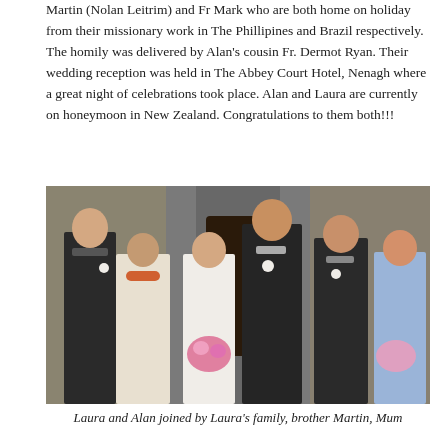Martin (Nolan Leitrim) and Fr Mark who are both home on holiday from their missionary work in The Phillipines and Brazil respectively. The homily was delivered by Alan's cousin Fr. Dermot Ryan. Their wedding reception was held in The Abbey Court Hotel, Nenagh where a great night of celebrations took place. Alan and Laura are currently on honeymoon in New Zealand. Congratulations to them both!!!
[Figure (photo): Wedding group photo showing six people standing outside a stone church doorway. From left to right: a tall young man in a dark suit, an older woman in a white floral jacket and dress with an orange sash, the bride in a white wedding dress holding a bouquet of pink flowers, the groom in a dark morning suit with a white flower, an older man in a dark suit with a white flower, and a young woman in a strapless blue bridesmaid dress holding a bouquet.]
Laura and Alan joined by Laura's family, brother Martin, Mum